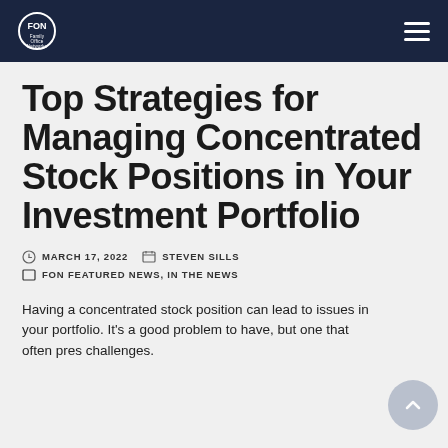Family Office Networks
Top Strategies for Managing Concentrated Stock Positions in Your Investment Portfolio
MARCH 17, 2022   STEVEN SILLS
FON FEATURED NEWS, IN THE NEWS
Having a concentrated stock position can lead to issues in your portfolio. It's a good problem to have, but one that often pres challenges.